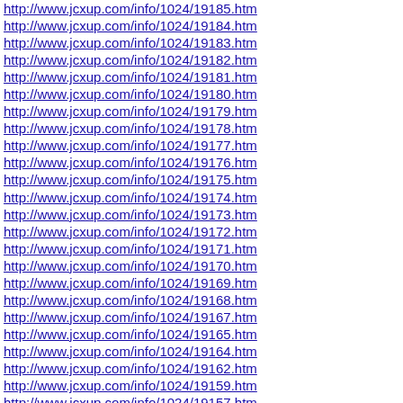http://www.jcxup.com/info/1024/19185.htm
http://www.jcxup.com/info/1024/19184.htm
http://www.jcxup.com/info/1024/19183.htm
http://www.jcxup.com/info/1024/19182.htm
http://www.jcxup.com/info/1024/19181.htm
http://www.jcxup.com/info/1024/19180.htm
http://www.jcxup.com/info/1024/19179.htm
http://www.jcxup.com/info/1024/19178.htm
http://www.jcxup.com/info/1024/19177.htm
http://www.jcxup.com/info/1024/19176.htm
http://www.jcxup.com/info/1024/19175.htm
http://www.jcxup.com/info/1024/19174.htm
http://www.jcxup.com/info/1024/19173.htm
http://www.jcxup.com/info/1024/19172.htm
http://www.jcxup.com/info/1024/19171.htm
http://www.jcxup.com/info/1024/19170.htm
http://www.jcxup.com/info/1024/19169.htm
http://www.jcxup.com/info/1024/19168.htm
http://www.jcxup.com/info/1024/19167.htm
http://www.jcxup.com/info/1024/19165.htm
http://www.jcxup.com/info/1024/19164.htm
http://www.jcxup.com/info/1024/19162.htm
http://www.jcxup.com/info/1024/19159.htm
http://www.jcxup.com/info/1024/19157.htm
http://www.jcxup.com/info/1024/19149.htm
http://www.jcxup.com/info/1024/19147.htm